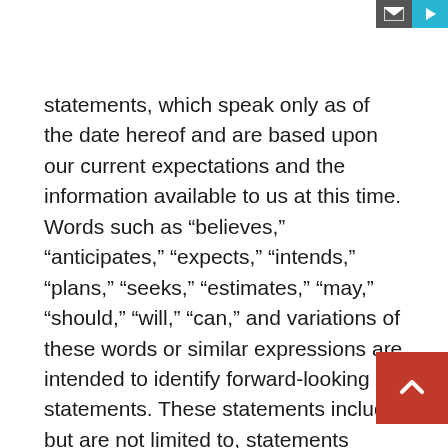statements, which speak only as of the date hereof and are based upon our current expectations and the information available to us at this time. Words such as “believes,” “anticipates,” “expects,” “intends,” “plans,” “seeks,” “estimates,” “may,” “should,” “will,” “can,” and variations of these words or similar expressions are intended to identify forward-looking statements. These statements include, but are not limited to, statements about the capabilities, benefits and impacts of our products and solutions. Such statements are not guarantees of future performance and are subject to certain risks, uncertainties, and assumptions that are difficult to predict, and actual results differ materially and adversely from those